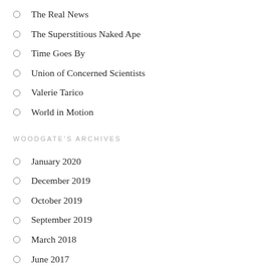The Real News
The Superstitious Naked Ape
Time Goes By
Union of Concerned Scientists
Valerie Tarico
World in Motion
WOODGATE'S ARCHIVES
January 2020
December 2019
October 2019
September 2019
March 2018
June 2017
May 2017
February 2017
January 2017